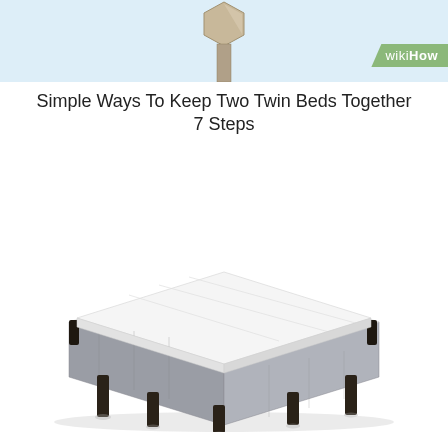wikiHow
Simple Ways To Keep Two Twin Beds Together 7 Steps
[Figure (photo): A gray upholstered platform bed base with white mattress top surface and multiple dark brown/black legs, photographed in isometric/perspective view against a white background.]